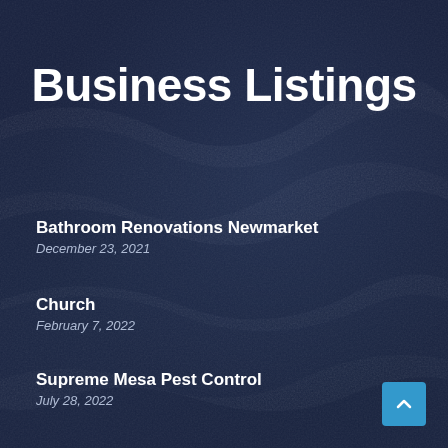Business Listings
Bathroom Renovations Newmarket
December 23, 2021
Church
February 7, 2022
Supreme Mesa Pest Control
July 28, 2022